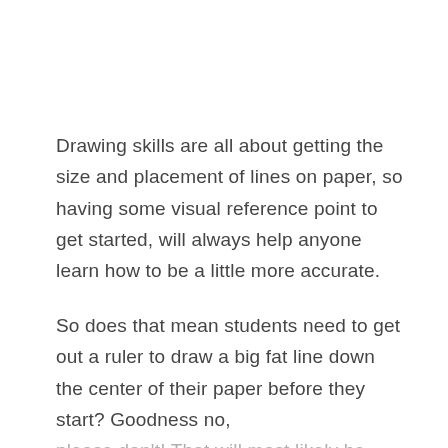Drawing skills are all about getting the size and placement of lines on paper, so having some visual reference point to get started, will always help anyone learn how to be a little more accurate.
So does that mean students need to get out a ruler to draw a big fat line down the center of their paper before they start? Goodness no, please don't! That will most likely be hard to erase and distract from any finished art. No,